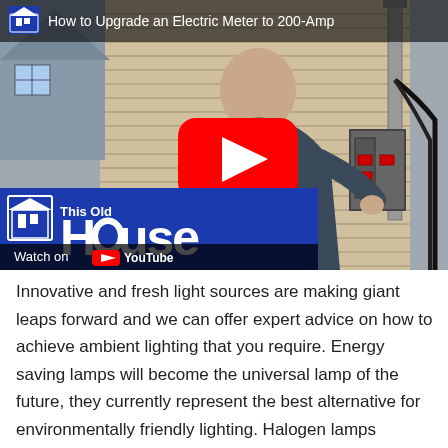[Figure (screenshot): YouTube video thumbnail showing a man working on an electrical meter on the side of a house. Title reads 'How to Upgrade an Electric Meter to 200-Amp'. This Old House branding with 'Watch on YouTube' overlay at the bottom left. Red YouTube play button in center.]
Innovative and fresh light sources are making giant leaps forward and we can offer expert advice on how to achieve ambient lighting that you require. Energy saving lamps will become the universal lamp of the future, they currently represent the best alternative for environmentally friendly lighting. Halogen lamps